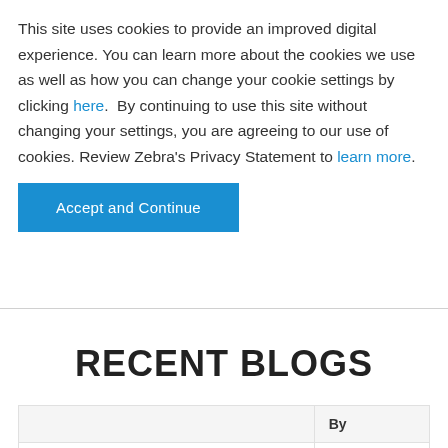This site uses cookies to provide an improved digital experience. You can learn more about the cookies we use as well as how you can change your cookie settings by clicking here.  By continuing to use this site without changing your settings, you are agreeing to our use of cookies. Review Zebra's Privacy Statement to learn more.
Accept and Continue
RECENT BLOGS
|  | By |
| --- | --- |
| Getting Printer Alerts Using HTTP-POST | Mattia |